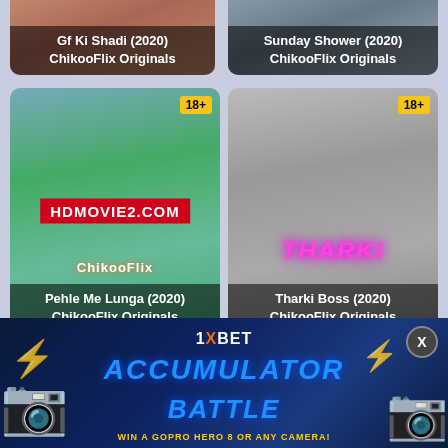[Figure (screenshot): Partial movie card top-left: Gf Ki Shadi (2020) ChikooFlix Originals]
[Figure (screenshot): Partial movie card top-right: Sunday Shower (2020) ChikooFlix Originals]
[Figure (screenshot): Movie card middle-left with 18+ badge and HDMOVIE2.COM watermark: Pehle Me Lunga (2020) ChikooFlix Originals]
[Figure (screenshot): Movie card middle-right with 18+ badge: Tharki Boss (2020) ChikooFlix Originals]
[Figure (screenshot): Partial movie card bottom-left (cropped)]
[Figure (screenshot): Partial movie card bottom-right (cropped)]
[Figure (screenshot): 1XBET Accumulator Battle advertisement banner at bottom]